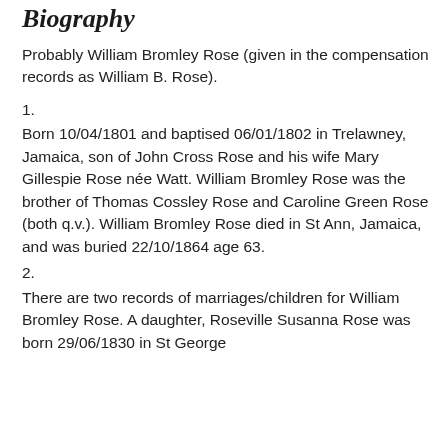Biography
Probably William Bromley Rose (given in the compensation records as William B. Rose).
1.
Born 10/04/1801 and baptised 06/01/1802 in Trelawney, Jamaica, son of John Cross Rose and his wife Mary Gillespie Rose née Watt. William Bromley Rose was the brother of Thomas Cossley Rose and Caroline Green Rose (both q.v.). William Bromley Rose died in St Ann, Jamaica, and was buried 22/10/1864 age 63.
2.
There are two records of marriages/children for William Bromley Rose. A daughter, Roseville Susanna Rose was born 29/06/1830 in St George...